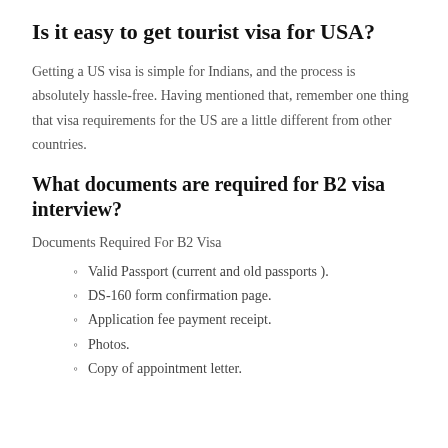Is it easy to get tourist visa for USA?
Getting a US visa is simple for Indians, and the process is absolutely hassle-free. Having mentioned that, remember one thing that visa requirements for the US are a little different from other countries.
What documents are required for B2 visa interview?
Documents Required For B2 Visa
Valid Passport (current and old passports ).
DS-160 form confirmation page.
Application fee payment receipt.
Photos.
Copy of appointment letter.